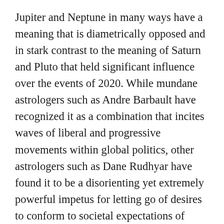Jupiter and Neptune in many ways have a meaning that is diametrically opposed and in stark contrast to the meaning of Saturn and Pluto that held significant influence over the events of 2020. While mundane astrologers such as Andre Barbault have recognized it as a combination that incites waves of liberal and progressive movements within global politics, other astrologers such as Dane Rudhyar have found it to be a disorienting yet extremely powerful impetus for letting go of desires to conform to societal expectations of success in favor of following an unorthodox and untrodden path illuminated by the inner light of imaginal, unconscious sources. Due to the illusory impact of Neptune, however, we will